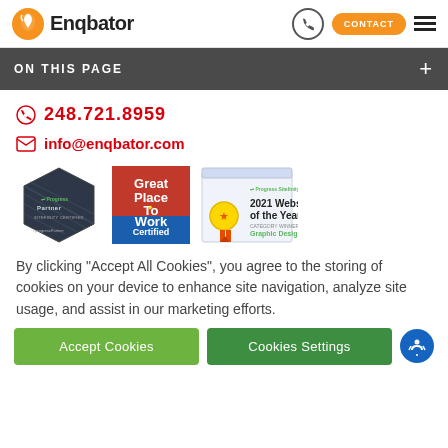Enqbator — CONTACT
ON THIS PAGE
248.721.8959
info@enqbator.com
[Figure (logo): Three badges: Progress Sitefinity Partner hexagon badge, Great Place To Work Certified Aug 2021-Aug 2022 USA badge, and Progress Sitefinity 2021 Website of the Year Graphic Design category winner certificate]
By clicking “Accept All Cookies”, you agree to the storing of cookies on your device to enhance site navigation, analyze site usage, and assist in our marketing efforts.
Accept Cookies
Cookies Settings